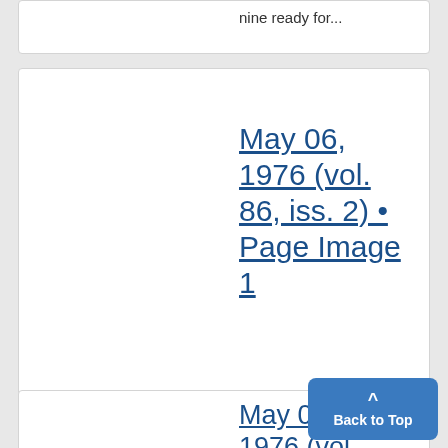nine ready for...
May 06, 1976 (vol. 86, iss. 2) • Page Image 1
...The Michigan Daily ,_.----- Vol. LXXXVI, No. 2-S Ann Arbor, Michigan-Thursday, May 6, 1976 Ten Cents Twelve...
May 06, 1976 (vol...